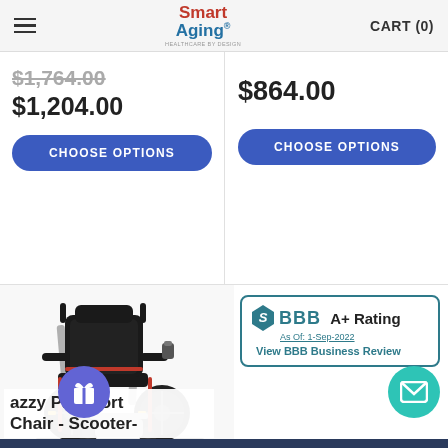Smart Aging® HEALTHCARE BY DESIGN | CART (0)
$1,764.00 (strikethrough)
$1,204.00
CHOOSE OPTIONS
$864.00
CHOOSE OPTIONS
[Figure (photo): Power wheelchair - Jazzy Passport model, black seat with red accents, silver frame, large rear wheels, front footrest]
BBB A+ Rating As Of: 1-Sep-2022 View BBB Business Review
azzy Passport Chair - Scooter-